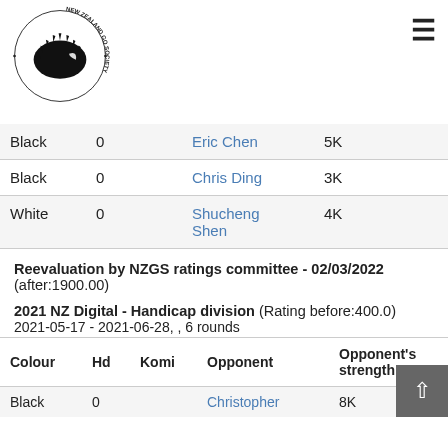New Zealand Go Society logo and navigation
| Colour | Hd |  | Opponent | Opponent's strength |
| --- | --- | --- | --- | --- |
| Black | 0 |  | Eric Chen | 5K |
| Black | 0 |  | Chris Ding | 3K |
| White | 0 |  | Shucheng Shen | 4K |
Reevaluation by NZGS ratings committee - 02/03/2022 ( after:1900.00)
2021 NZ Digital - Handicap division (Rating before:400.0) 2021-05-17 - 2021-06-28, , 6 rounds
| Colour | Hd | Komi | Opponent | Opponent's strength |
| --- | --- | --- | --- | --- |
| Black | 0 |  | Christopher | 8K |